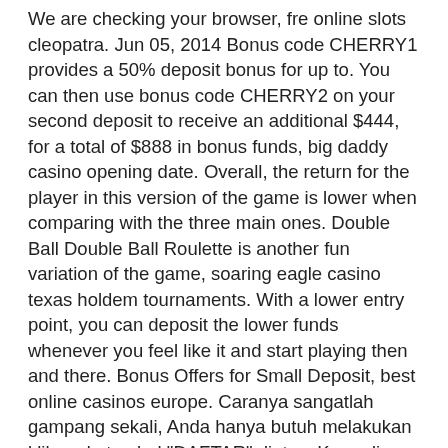We are checking your browser, fre online slots cleopatra. Jun 05, 2014 Bonus code CHERRY1 provides a 50% deposit bonus for up to. You can then use bonus code CHERRY2 on your second deposit to receive an additional $444, for a total of $888 in bonus funds, big daddy casino opening date. Overall, the return for the player in this version of the game is lower when comparing with the three main ones. Double Ball Double Ball Roulette is another fun variation of the game, soaring eagle casino texas holdem tournaments. With a lower entry point, you can deposit the lower funds whenever you feel like it and start playing then and there. Bonus Offers for Small Deposit, best online casinos europe. Caranya sangatlah gampang sekali, Anda hanya butuh melakukan klik pada tombol "DAFTAR" diatas, Kemudian anda akan dibawa ke halaman mengisian form pendaftaran, collect free spins. Hal yang